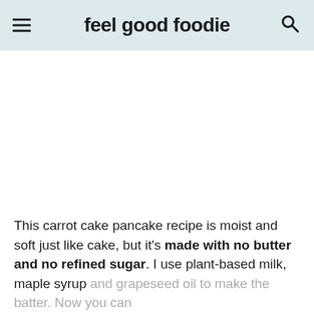feel good foodie
[Figure (photo): White/blank image area placeholder]
This carrot cake pancake recipe is moist and soft just like cake, but it's made with no butter and no refined sugar. I use plant-based milk, maple syrup and grapeseed oil to make the batter. Now you can